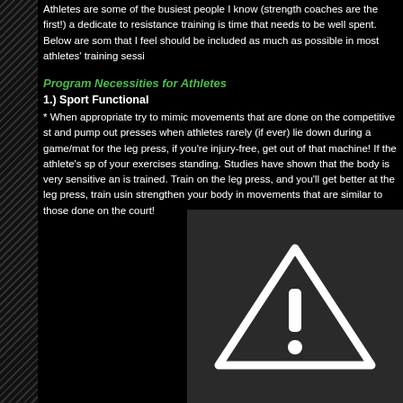Athletes are some of the busiest people I know (strength coaches are the first!) a dedicate to resistance training is time that needs to be well spent. Below are som that I feel should be included as much as possible in most athletes' training sessi
Program Necessities for Athletes
1.) Sport Functional
* When appropriate try to mimic movements that are done on the competitive st and pump out presses when athletes rarely (if ever) lie down during a game/mat for the leg press, if you're injury-free, get out of that machine! If the athlete's sp of your exercises standing. Studies have shown that the body is very sensitive an is trained. Train on the leg press, and you'll get better at the leg press, train usin strengthen your body in movements that are similar to those done on the court!
[Figure (illustration): A dark grey box containing a warning triangle icon with an exclamation mark, displayed on a black background]